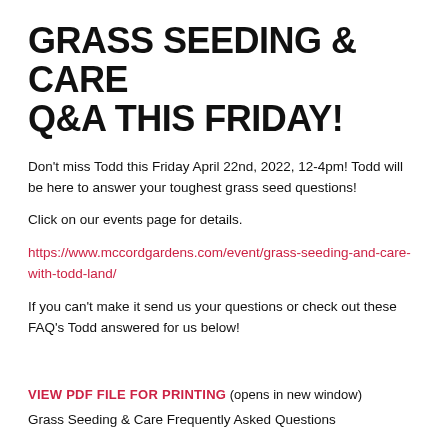GRASS SEEDING & CARE Q&A THIS FRIDAY!
Don't miss Todd this Friday April 22nd, 2022, 12-4pm! Todd will be here to answer your toughest grass seed questions!
Click on our events page for details.
https://www.mccordgardens.com/event/grass-seeding-and-care-with-todd-land/
If you can't make it send us your questions or check out these FAQ's Todd answered for us below!
VIEW PDF FILE FOR PRINTING (opens in new window)
Grass Seeding & Care Frequently Asked Questions